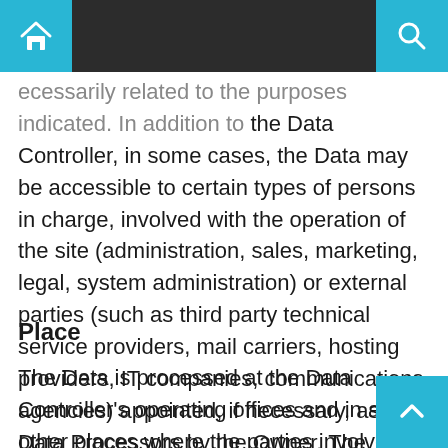Home | Search
necessary related to the purposes indicated. In addition to the Data Controller, in some cases, the Data may be accessible to certain types of persons in charge, involved with the operation of the site (administration, sales, marketing, legal, system administration) or external parties (such as third party technical service providers, mail carriers, hosting providers, IT companies, communications agencies) appointed, if necessary, as Data Processors by the Owner. The updated list of these parties may be requested from the Data Controller at any time.
Place
The Data is processed at the Data Controller's operating offices and in any other places where the parties involved with